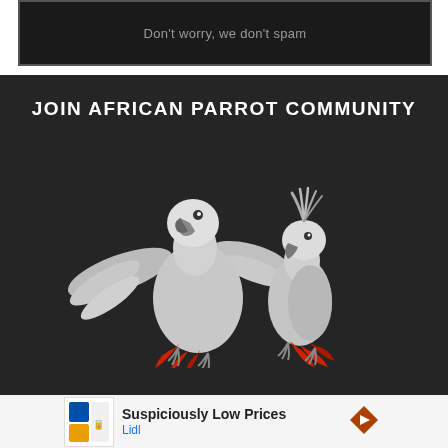Don't worry, we don't spam
JOIN AFRICAN PARROT COMMUNITY
[Figure (illustration): Two illustrated grey parrots with red tail feathers facing each other on a dark background. The left parrot has wings spread wide open, and the right parrot has a crest on its head.]
Suspiciously Low Prices
Lidl